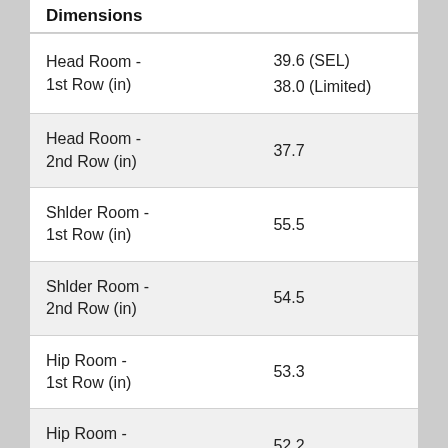Dimensions
|  |  |
| --- | --- |
| Head Room - 1st Row (in) | 39.6 (SEL)
38.0 (Limited) |
| Head Room - 2nd Row (in) | 37.7 |
| Shlder Room - 1st Row (in) | 55.5 |
| Shlder Room - 2nd Row (in) | 54.5 |
| Hip Room - 1st Row (in) | 53.3 |
| Hip Room - 2nd Row (in) | 52.2 |